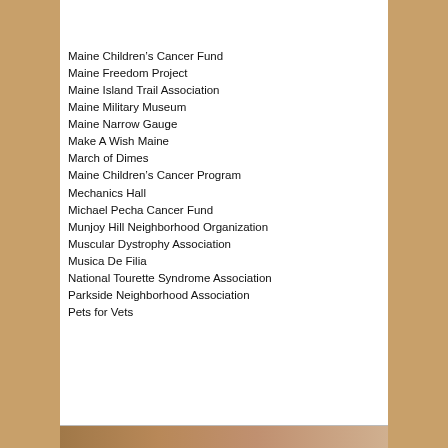[Figure (photo): Top portion of a collage/stamp image showing a map and outdoor scene, partially cropped]
Maine Children’s Cancer Fund
Maine Freedom Project
Maine Island Trail Association
Maine Military Museum
Maine Narrow Gauge
Make A Wish Maine
March of Dimes
Maine Children’s Cancer Program
Mechanics Hall
Michael Pecha Cancer Fund
Munjoy Hill Neighborhood Organization
Muscular Dystrophy Association
Musica De Filia
National Tourette Syndrome Association
Parkside Neighborhood Association
Pets for Vets
[Figure (photo): Bottom portion of a photo, partially cropped at bottom of page]